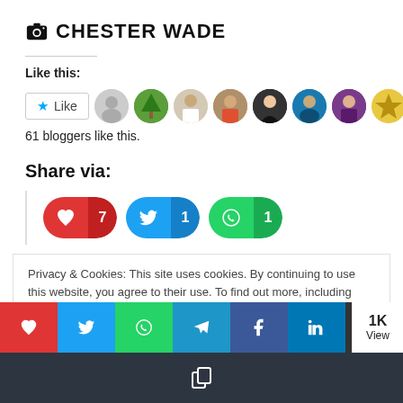CHESTER WADE
Like this:
61 bloggers like this.
Share via:
[Figure (infographic): Social share buttons: heart with count 7 (red), Twitter bird with count 1 (blue), WhatsApp with count 1 (green)]
Privacy & Cookies: This site uses cookies. By continuing to use this website, you agree to their use. To find out more, including privacy and
Social share bottom bar: heart, Twitter, WhatsApp, Telegram, Facebook, LinkedIn, mail icons. 1K View.